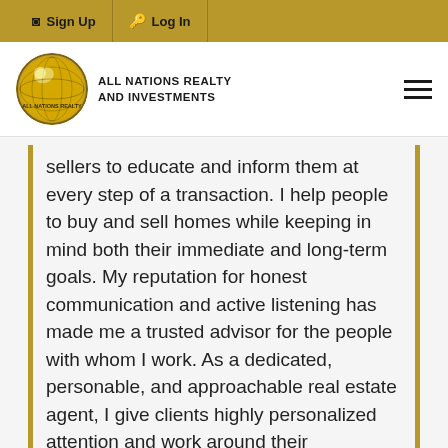Sign Up  Log In
[Figure (logo): All Nations Realty and Investments logo — gold globe with text]
sellers to educate and inform them at every step of a transaction. I help people to buy and sell homes while keeping in mind both their immediate and long-term goals. My reputation for honest communication and active listening has made me a trusted advisor for the people with whom I work. As a dedicated, personable, and approachable real estate agent, I give clients highly personalized attention and work around their schedules.